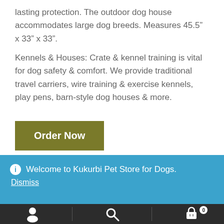lasting protection. The outdoor dog house accommodates large dog breeds. Measures 45.5" x 33" x 33".
Kennels & Houses: Crate & kennel training is vital for dog safety & comfort. We provide traditional travel carriers, wire training & exercise kennels, play pens, barn-style dog houses & more.
Order Now
ⓘ Welcome to Kukurbi Pet Store for Dogs. Dismiss